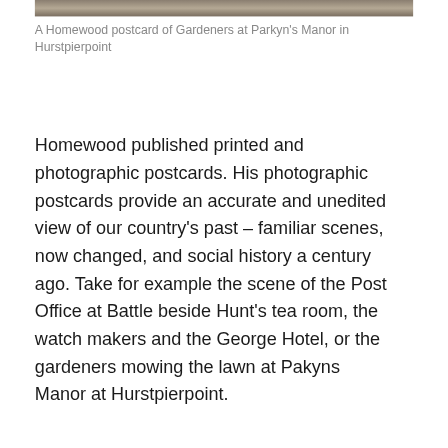[Figure (photo): Top portion of a historical photograph (cropped), showing a Homewood postcard of Gardeners at Parkyn's Manor in Hurstpierpoint]
A Homewood postcard of Gardeners at Parkyn's Manor in Hurstpierpoint
Homewood published printed and photographic postcards. His photographic postcards provide an accurate and unedited view of our country's past – familiar scenes, now changed, and social history a century ago. Take for example the scene of the Post Office at Battle beside Hunt's tea room, the watch makers and the George Hotel, or the gardeners mowing the lawn at Pakyns Manor at Hurstpierpoint.
[Figure (photo): Portrait photograph of an elderly man with white/grey hair, photographed in front of a wooden shelving unit displaying decorative plates and china items.]